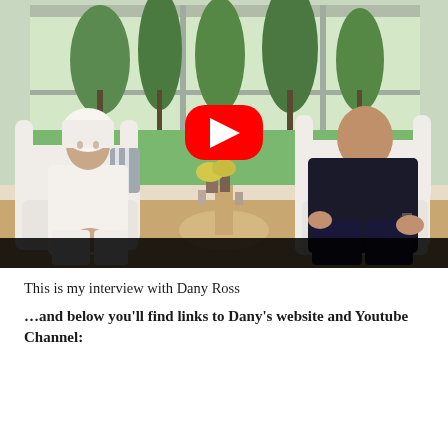[Figure (screenshot): A YouTube video thumbnail showing two people seated in white armchairs in a bright room with large windows overlooking greenery. On the left is a woman wearing a white head wrap and white outfit. On the right is a bald man in a dark shirt and navy trousers. A round side table with flowers sits between them. A large red YouTube play button overlay is centered on the image.]
This is my interview with Dany Ross
…and below you'll find links to Dany's website and Youtube Channel: